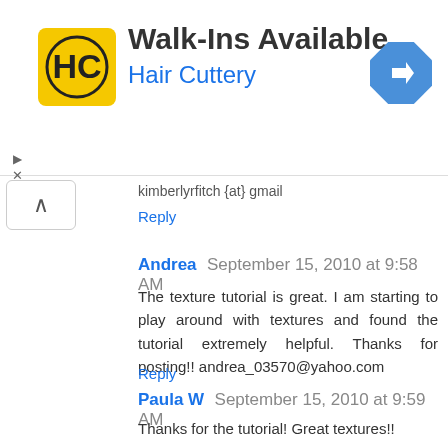[Figure (advertisement): Hair Cuttery advertisement banner with logo, 'Walk-Ins Available' headline, and navigation arrow icon]
kimberlyrfitch {at} gmail
Reply
Andrea  September 15, 2010 at 9:58 AM
The texture tutorial is great. I am starting to play around with textures and found the tutorial extremely helpful. Thanks for posting!! andrea_03570@yahoo.com
Reply
Paula W  September 15, 2010 at 9:59 AM
Thanks for the tutorial! Great textures!!
paulakay9480@gmail.com
Reply